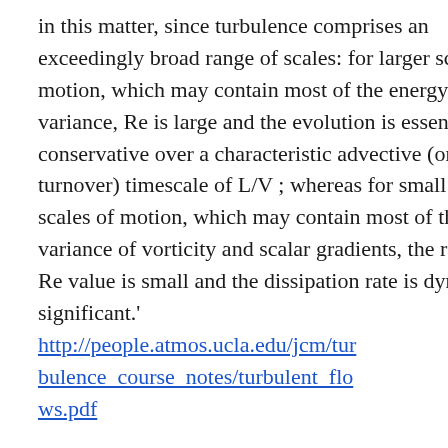in this matter, since turbulence comprises an exceedingly broad range of scales: for larger scales of motion, which may contain most of the energy or scalar variance, Re is large and the evolution is essentially conservative over a characteristic advective (or eddy turnover) timescale of L/V ; whereas for small enough scales of motion, which may contain most of the variance of vorticity and scalar gradients, the relevant Re value is small and the dissipation rate is dynamically significant.' http://people.atmos.ucla.edu/jcm/turbulence_course_notes/turbulent_flows.pdf